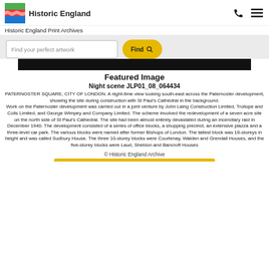Historic England
Historic England Print Archives
Find your perfect artwork  Find
[Figure (photo): Dark night scene image strip]
Featured Image
Night scene JLP01_08_064434
PATERNOSTER SQUARE, CITY OF LONDON. A night-time view looking south-east across the Paternoster development, showing the site during construction with St Paul's Cathedral in the background. Work on the Paternoster development was carried out in a joint venture by John Laing Construction Limited, Trollope and Colls Limited, and George Wimpey and Company Limited. The scheme involved the redevelopment of a seven acre site on the north side of St Paul's Cathedral. The site had been almost entirely devastated during an incendiary raid in December 1940. The development consisted of a series of office blocks, a shopping precinct, an extensive piazza and a three-level car park. The various blocks were named after former Bishops of London. The tallest block was 18-storeys in height and was called Sudbury House. The three 10-storey blocks were Courtenay, Walden and Grendall Houses, and the five-storey blocks were Laud, Sheldon and Bancroft Houses
© Historic England Archive